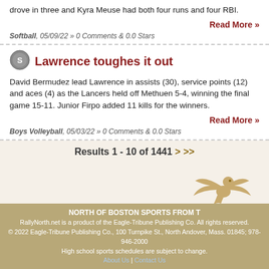drove in three and Kyra Meuse had both four runs and four RBI.
Read More »
Softball, 05/09/22 » 0 Comments & 0.0 Stars
Lawrence toughes it out
David Bermudez lead Lawrence in assists (30), service points (12) and aces (4) as the Lancers held off Methuen 5-4, winning the final game 15-11. Junior Firpo added 11 kills for the winners.
Read More »
Boys Volleyball, 05/03/22 » 0 Comments & 0.0 Stars
Results 1 - 10 of 1441 > >>
[Figure (logo): Eagle-Tribune eagle logo in gold/tan]
The Eagle-Tribune
NORTH OF BOSTON SPORTS FROM T
RallyNorth.net is a product of the Eagle-Tribune Publishing Co. All rights reserved.
© 2022 Eagle-Tribune Publishing Co., 100 Turnpike St., North Andover, Mass. 01845; 978-946-2000
High school sports schedules are subject to change.
About Us | Contact Us